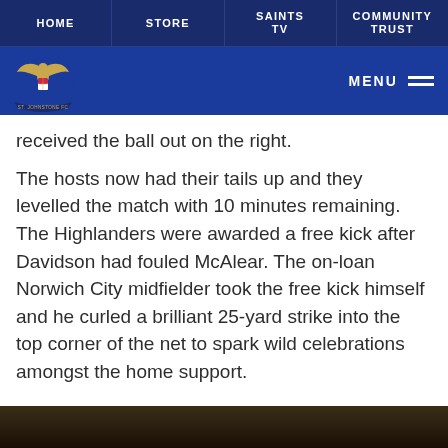HOME | STORE | SAINTS TV | COMMUNITY TRUST
[Figure (logo): St Johnstone FC crest logo on blue navigation bar with MENU button]
received the ball out on the right.
The hosts now had their tails up and they levelled the match with 10 minutes remaining. The Highlanders were awarded a free kick after Davidson had fouled McAlear. The on-loan Norwich City midfielder took the free kick himself and he curled a brilliant 25-yard strike into the top corner of the net to spark wild celebrations amongst the home support.
[Figure (photo): Dark photograph at bottom of page, likely crowd or match scene]